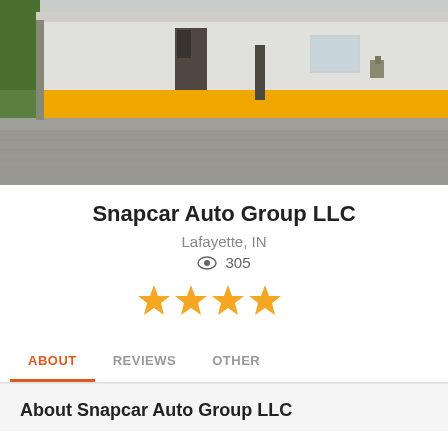[Figure (photo): Exterior photo of a building with yellow and white walls, gray/gravel parking area, and trees visible on the left side. Building has a distinctive yellow horizontal stripe.]
Snapcar Auto Group LLC
Lafayette, IN
305
[Figure (infographic): Four filled orange/gold star rating icons displayed in a row]
ABOUT   REVIEWS   OTHER
About Snapcar Auto Group LLC